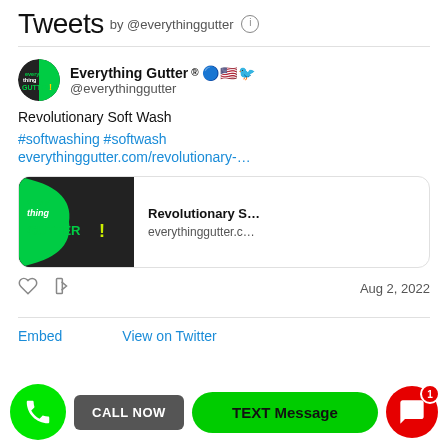Tweets by @everythinggutter
Everything Gutter® @everythinggutter
Revolutionary Soft Wash
#softwashing #softwash
everythinggutter.com/revolutionary-…
[Figure (screenshot): Link preview card showing Everything Gutter logo with 'Revolutionary S...' title and 'everythinggutter.c...' URL]
Aug 2, 2022
Embed   View on Twitter
[Figure (infographic): Bottom action bar with green phone button, CALL NOW button, TEXT Message button, and SMS notification button with badge showing 1]